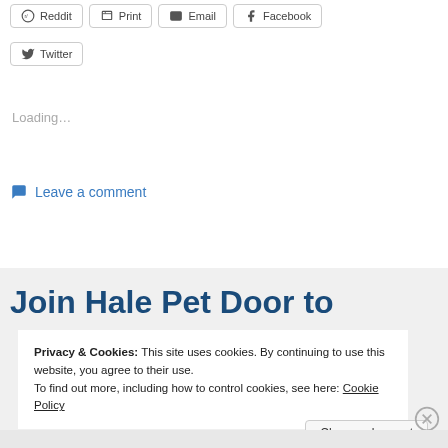Reddit  Print  Email  Facebook
Twitter
Loading…
Leave a comment
Join Hale Pet Door to
Privacy & Cookies: This site uses cookies. By continuing to use this website, you agree to their use.
To find out more, including how to control cookies, see here: Cookie Policy
Close and accept